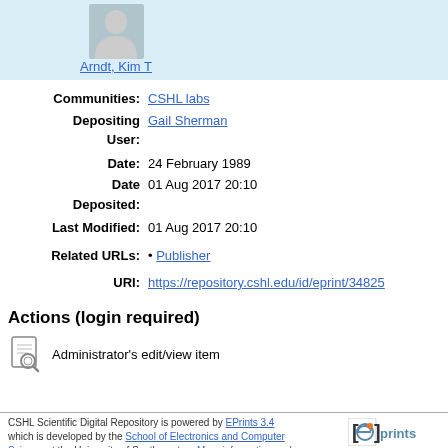[Figure (photo): User avatar silhouette placeholder image in light blue banner, with name link 'Arndt, Kim T' below it]
Communities: CSHL labs
Depositing User: Gail Sherman
Date: 24 February 1989
Date Deposited: 01 Aug 2017 20:10
Last Modified: 01 Aug 2017 20:10
Related URLs: • Publisher
URI: https://repository.cshl.edu/id/eprint/34825
Actions (login required)
Administrator's edit/view item
CSHL Scientific Digital Repository is powered by EPrints 3.4 which is developed by the School of Electronics and Computer Science at the University of Southampton. More information and software credits.